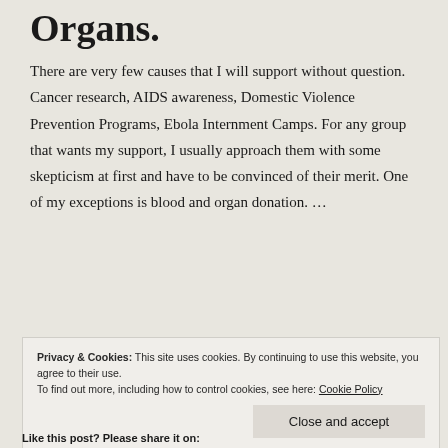Organs.
There are very few causes that I will support without question. Cancer research, AIDS awareness, Domestic Violence Prevention Programs, Ebola Internment Camps. For any group that wants my support, I usually approach them with some skepticism at first and have to be convinced of their merit. One of my exceptions is blood and organ donation. …
Continue reading
Privacy & Cookies: This site uses cookies. By continuing to use this website, you agree to their use.
To find out more, including how to control cookies, see here: Cookie Policy
Close and accept
Like this post? Please share it on: